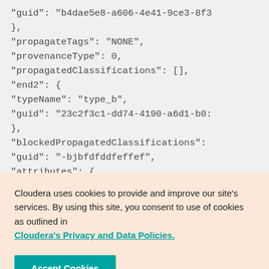"guid": "b4dae5e8-a606-4e41-9ce3-8f3...
},
"propagateTags": "NONE",
"provenanceType": 0,
"propagatedClassifications": [],
"end2": {
"typeName": "type_b",
"guid": "23c2f3c1-dd74-4190-a6d1-b0...
},
"blockedPropagatedClassifications":
"guid": "-bjbfdfddfeffef",
"attributes": {
Cloudera uses cookies to provide and improve our site's services. By using this site, you consent to use of cookies as outlined in Cloudera's Privacy and Data Policies.
Accept Cookies